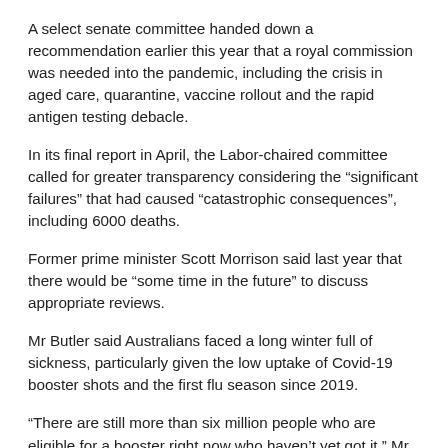A select senate committee handed down a recommendation earlier this year that a royal commission was needed into the pandemic, including the crisis in aged care, quarantine, vaccine rollout and the rapid antigen testing debacle.
In its final report in April, the Labor-chaired committee called for greater transparency considering the “significant failures” that had caused “catastrophic consequences”, including 6000 deaths.
Former prime minister Scott Morrison said last year that there would be “some time in the future” to discuss appropriate reviews.
Mr Butler said Australians faced a long winter full of sickness, particularly given the low uptake of Covid-19 booster shots and the first flu season since 2019.
“There are still more than six million people who are eligible for a booster right now who haven’t yet got it,” Mr Butler said.
“We need to get the message out that you’re not fully protected against, particularly the Omicron variant, unless you have three doses.”